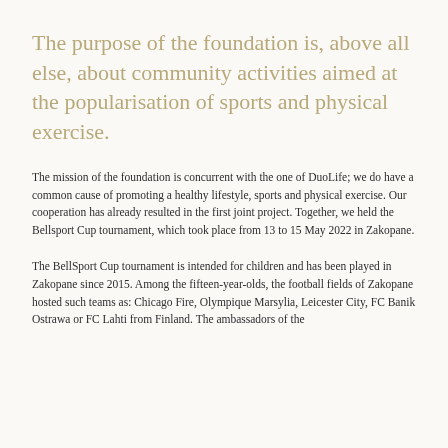The purpose of the foundation is, above all else, about community activities aimed at the popularisation of sports and physical exercise.
The mission of the foundation is concurrent with the one of DuoLife; we do have a common cause of promoting a healthy lifestyle, sports and physical exercise. Our cooperation has already resulted in the first joint project. Together, we held the Bellsport Cup tournament, which took place from 13 to 15 May 2022 in Zakopane.
The BellSport Cup tournament is intended for children and has been played in Zakopane since 2015. Among the fifteen-year-olds, the football fields of Zakopane hosted such teams as: Chicago Fire, Olympique Marsylia, Leicester City, FC Banik Ostrawa or FC Lahti from Finland. The ambassadors of the